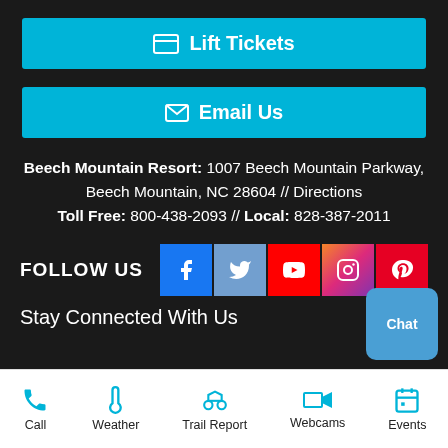[Figure (other): Lift Tickets button - cyan/blue button with ticket icon]
[Figure (other): Email Us button - cyan/blue button with envelope icon]
Beech Mountain Resort: 1007 Beech Mountain Parkway, Beech Mountain, NC 28604 // Directions Toll Free: 800-438-2093 // Local: 828-387-2011
FOLLOW US
[Figure (other): Social media icons: Facebook, Twitter, YouTube, Instagram, Pinterest]
Stay Connected With Us
[Figure (other): Chat button (teal rounded square)]
Call | Weather | Trail Report | Webcams | Events